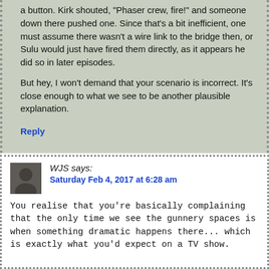a button. Kirk shouted, “Phaser crew, fire!” and someone down there pushed one. Since that’s a bit inefficient, one must assume there wasn’t a wire link to the bridge then, or Sulu would just have fired them directly, as it appears he did so in later episodes.

But hey, I won’t demand that your scenario is incorrect. It’s close enough to what we see to be another plausible explanation.
Reply
WJS says:
Saturday Feb 4, 2017 at 6:28 am
You realise that you’re basically complaining that the only time we see the gunnery spaces is when something dramatic happens there... which is exactly what you’d expect on a TV show.